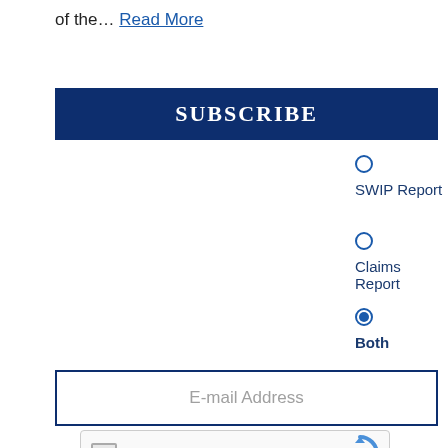of the… Read More
SUBSCRIBE
SWIP Report
Claims Report
Both (selected)
E-mail Address
I'm not a robot